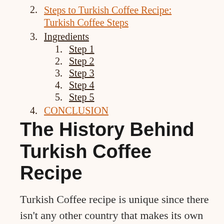2. Steps to Turkish Coffee Recipe: Turkish Coffee Steps
3. Ingredients
1. Step 1
2. Step 2
3. Step 3
4. Step 4
5. Step 5
4. CONCLUSION
The History Behind Turkish Coffee Recipe
Turkish Coffee recipe is unique since there isn’t any other country that makes its own Turkish Coffee. Rumour has it that it was